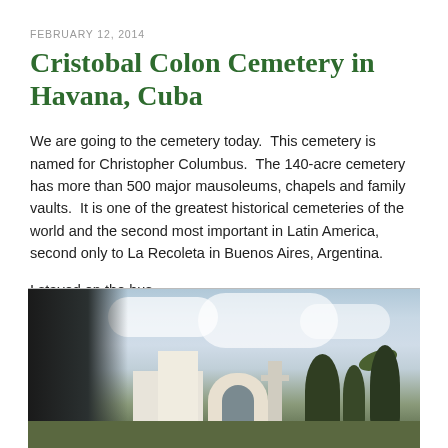FEBRUARY 12, 2014
Cristobal Colon Cemetery in Havana, Cuba
We are going to the cemetery today.  This cemetery is named for Christopher Columbus.  The 140-acre cemetery has more than 500 major mausoleums, chapels and family vaults.  It is one of the greatest historical cemeteries of the world and the second most important in Latin America, second only to La Recoleta in Buenos Aires, Argentina.
I stayed on the bus.
[Figure (photo): View from a bus window showing the Cristobal Colon Cemetery in Havana, Cuba, with a gate, monument/cross, white buildings, palm trees, and cloudy sky. A dark silhouette of a person is visible in the foreground left.]